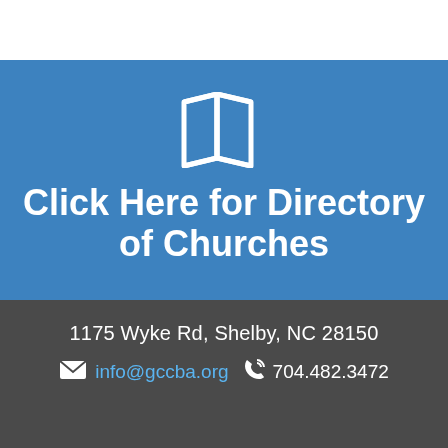[Figure (illustration): White map/book fold icon on blue background]
Click Here for Directory of Churches
1175 Wyke Rd, Shelby, NC 28150
info@gccba.org   704.482.3472
[Figure (illustration): White church silhouette icons on dark grey background]